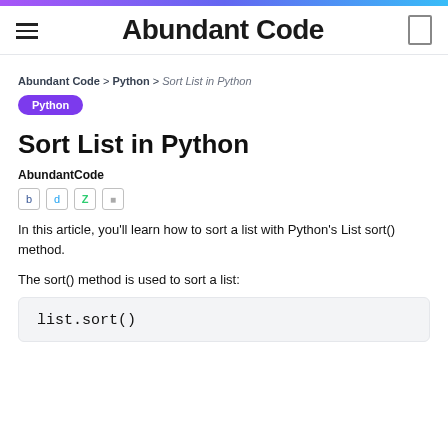Abundant Code
Abundant Code > Python > Sort List in Python
Python
Sort List in Python
AbundantCode
In this article, you'll learn how to sort a list with Python's List sort() method.
The sort() method is used to sort a list: